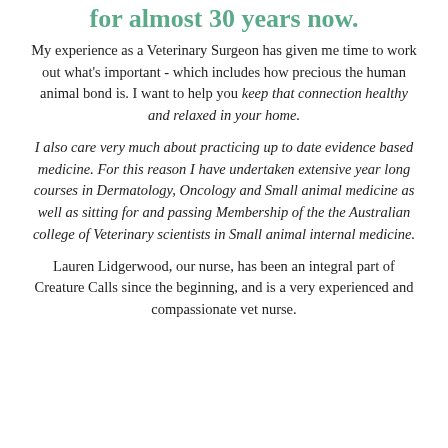for almost 30 years now.
My experience as a Veterinary Surgeon has given me time to work out what's important - which includes how precious the human animal bond is. I want to help you keep that connection healthy and relaxed in your home.
I also care very much about practicing up to date evidence based medicine. For this reason I have undertaken extensive year long courses in Dermatology, Oncology and Small animal medicine as well as sitting for and passing Membership of the the Australian college of Veterinary scientists in Small animal internal medicine.
Lauren Lidgerwood, our nurse, has been an integral part of Creature Calls since the beginning, and is a very experienced and compassionate vet nurse.